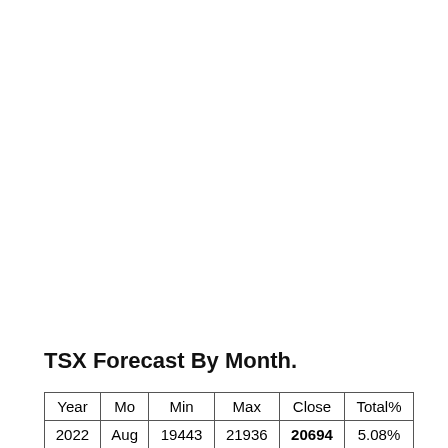TSX Forecast By Month.
| Year | Mo | Min | Max | Close | Total% |
| --- | --- | --- | --- | --- | --- |
| 2022 | Aug | 19443 | 21936 | 20694 | 5.08% |
| 2022 | Sep | 20015 | 22571 | 21293 | 8.12% |